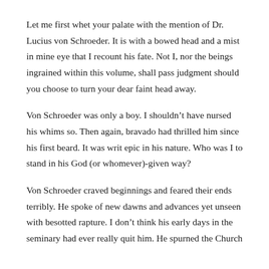Let me first whet your palate with the mention of Dr. Lucius von Schroeder. It is with a bowed head and a mist in mine eye that I recount his fate. Not I, nor the beings ingrained within this volume, shall pass judgment should you choose to turn your dear faint head away.
Von Schroeder was only a boy. I shouldn’t have nursed his whims so. Then again, bravado had thrilled him since his first beard. It was writ epic in his nature. Who was I to stand in his God (or whomever)-given way?
Von Schroeder craved beginnings and feared their ends terribly. He spoke of new dawns and advances yet unseen with besotted rapture. I don’t think his early days in the seminary had ever really quit him. He spurned the Church